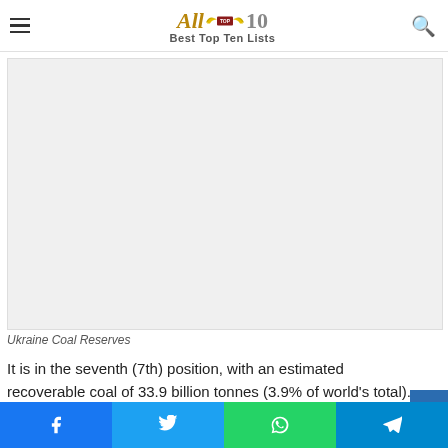All Top 10 — Best Top Ten Lists
[Figure (photo): Ukraine Coal Reserves image placeholder — large white/light gray rectangular image area]
Ukraine Coal Reserves
It is in the seventh (7th) position, with an estimated recoverable coal of 33.9 billion tonnes (3.9% of world's total). Most of the country's production (more than 90%)